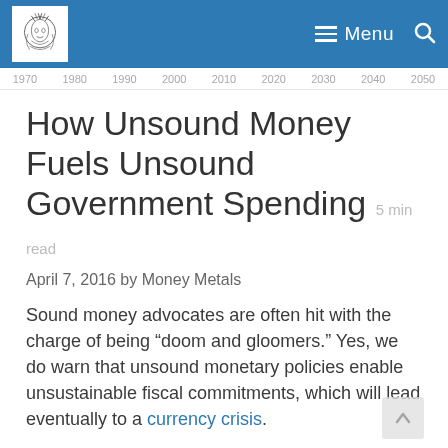Money Metals — Menu
[Figure (other): Horizontal timeline showing years: 1970, 1980, 1990, 2000, 2010, 2020, 2030, 2040, 2050]
How Unsound Money Fuels Unsound Government Spending  5 min read
April 7, 2016 by Money Metals
Sound money advocates are often hit with the charge of being “doom and gloomers.” Yes, we do warn that unsound monetary policies enable unsustainable fiscal commitments, which will lead eventually to a currency crisis.